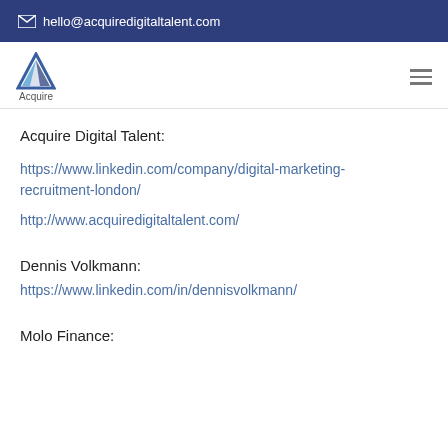✉ hello@acquiredigitaltalent.com
[Figure (logo): Acquire Digital Talent logo - blue triangle/arrow shape above text 'Acquire']
Acquire Digital Talent:
https://www.linkedin.com/company/digital-marketing-recruitment-london/
http://www.acquiredigitaltalent.com/
Dennis Volkmann:
https://www.linkedin.com/in/dennisvolkmann/
Molo Finance: